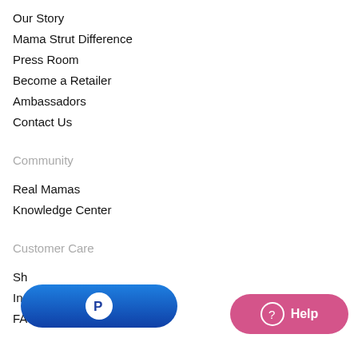Our Story
Mama Strut Difference
Press Room
Become a Retailer
Ambassadors
Contact Us
Community
Real Mamas
Knowledge Center
Customer Care
Sh
In
FAQ
[Figure (other): PayPal button - blue pill-shaped button with PayPal logo]
[Figure (other): Help button - pink pill-shaped button with question mark icon and Help text]